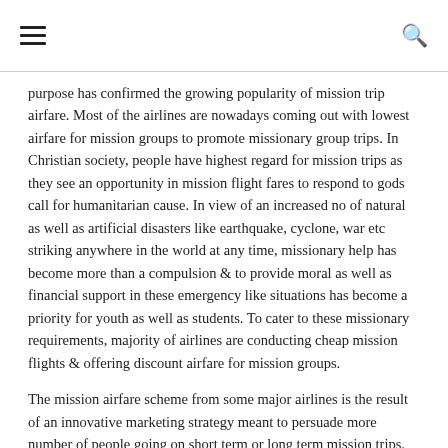navigation header with hamburger menu and search icon
purpose has confirmed the growing popularity of mission trip airfare. Most of the airlines are nowadays coming out with lowest airfare for mission groups to promote missionary group trips. In Christian society, people have highest regard for mission trips as they see an opportunity in mission flight fares to respond to gods call for humanitarian cause. In view of an increased no of natural as well as artificial disasters like earthquake, cyclone, war etc striking anywhere in the world at any time, missionary help has become more than a compulsion & to provide moral as well as financial support in these emergency like situations has become a priority for youth as well as students. To cater to these missionary requirements, majority of airlines are conducting cheap mission flights & offering discount airfare for mission groups.
The mission airfare scheme from some major airlines is the result of an innovative marketing strategy meant to persuade more number of people going on short term or long term mission trips. Those working in the mission field for years have got a better idea about cheapest airfares offers by different airlines available in market. However, airfare flight rates calculation for best mission trip deal has become easier